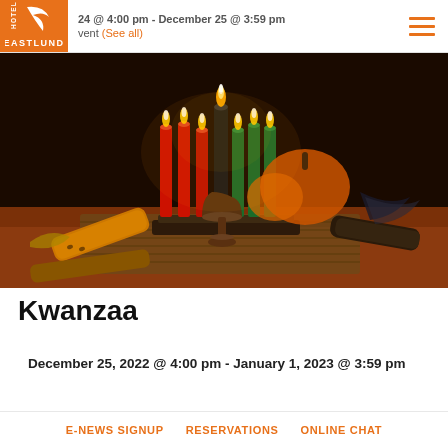24 @ 4:00 pm - December 25 @ 3:59 pm | vent (See all)
[Figure (photo): Kwanzaa kinara with seven lit candles (red, black, green), a wooden chalice, corn cobs, and decorative gourds on a dark background]
Kwanzaa
December 25, 2022 @ 4:00 pm - January 1, 2023 @ 3:59 pm
E-NEWS SIGNUP    RESERVATIONS    ONLINE CHAT